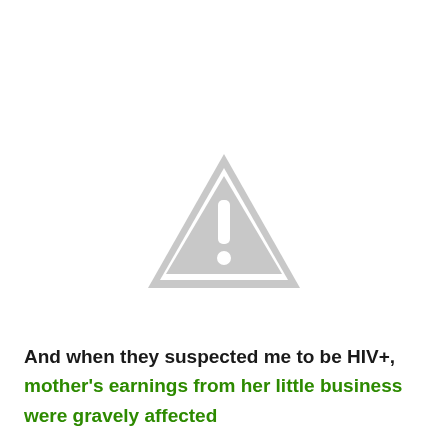[Figure (illustration): A gray warning triangle icon with an exclamation mark inside, centered on the upper portion of the page.]
And when they suspected me to be HIV+, mother's earnings from her little business were gravely affected